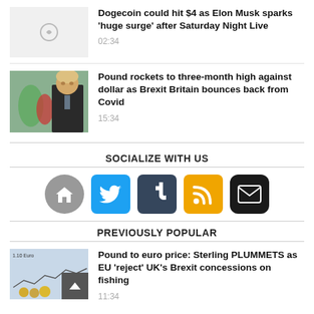Dogecoin could hit $4 as Elon Musk sparks 'huge surge' after Saturday Night Live
02:34
Pound rockets to three-month high against dollar as Brexit Britain bounces back from Covid
15:34
SOCIALIZE WITH US
[Figure (infographic): Social media icons: home, Twitter, Tumblr, RSS, email]
PREVIOUSLY POPULAR
Pound to euro price: Sterling PLUMMETS as EU 'reject' UK's Brexit concessions on fishing
11:34